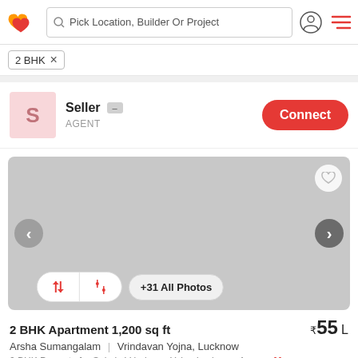[Figure (screenshot): Top navigation bar with logo, search bar saying 'Pick Location, Builder Or Project', user icon, and hamburger menu]
2 BHK ×
[Figure (photo): Grey placeholder property image with left/right navigation arrows, heart/save icon, sort and filter buttons, and '+31 All Photos' button]
2 BHK Apartment 1,200 sq ft
₹55 L
Arsha Sumangalam | Vrindavan Yojna, Lucknow
2 BHK Property for Sale in Vrindavan Yojna Lucknow: A spa... More